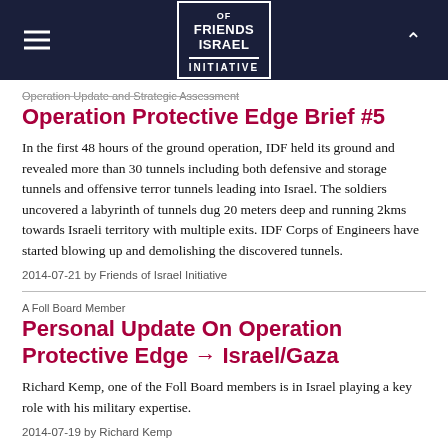Friends of Israel Initiative
Operation Update and Strategic Assessment
Operation Protective Edge Brief #5
In the first 48 hours of the ground operation, IDF held its ground and revealed more than 30 tunnels including both defensive and storage tunnels and offensive terror tunnels leading into Israel. The soldiers uncovered a labyrinth of tunnels dug 20 meters deep and running 2kms towards Israeli territory with multiple exits. IDF Corps of Engineers have started blowing up and demolishing the discovered tunnels.
2014-07-21 by Friends of Israel Initiative
A Foll Board Member
Personal Update On Operation Protective Edge → Israel/Gaza
Richard Kemp, one of the Foll Board members is in Israel playing a key role with his military expertise.
2014-07-19 by Richard Kemp